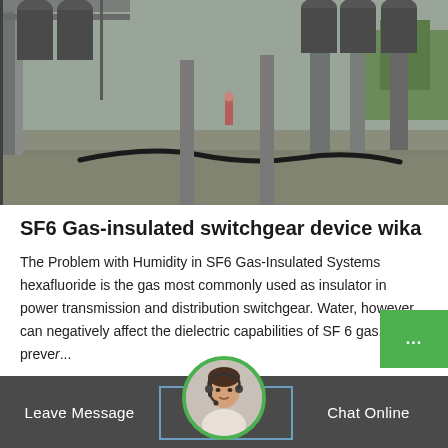[Figure (photo): Outdoor industrial electrical substation or switchgear facility with metal structures, columns, and cables on concrete, green trees in background]
SF6 Gas-insulated switchgear device wika
The Problem with Humidity in SF6 Gas-Insulated Systems hexafluoride is the gas most commonly used as insulator in power transmission and distribution switchgear. Water, however, can negatively affect the dielectric capabilities of SF 6 gas. To preve...
Leave Message   Chat Online